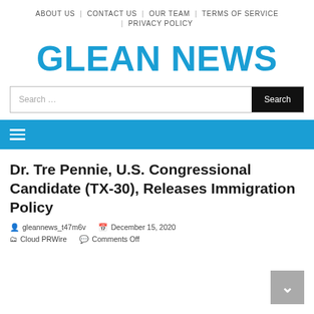ABOUT US  |  CONTACT US  |  OUR TEAM  |  TERMS OF SERVICE  |  PRIVACY POLICY
GLEAN NEWS
Dr. Tre Pennie, U.S. Congressional Candidate (TX-30), Releases Immigration Policy
gleannews_t47m6v   December 15, 2020
Cloud PRWire   Comments Off